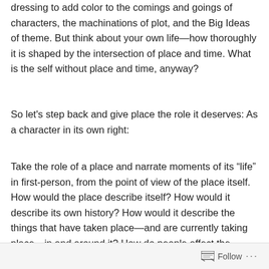dressing to add color to the comings and goings of characters, the machinations of plot, and the Big Ideas of theme. But think about your own life—how thoroughly it is shaped by the intersection of place and time. What is the self without place and time, anyway?
So let's step back and give place the role it deserves: As a character in its own right:
Take the role of a place and narrate moments of its “life” in first-person, from the point of view of the place itself. How would the place describe itself? How would it describe its own history? How would it describe the things that have taken place—and are currently taking place—in and around it? How do people affect the place? How does the place affect people?
Follow ···